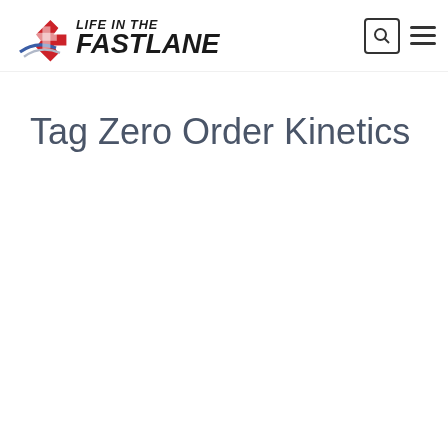Life in the Fast Lane
Tag Zero Order Kinetics